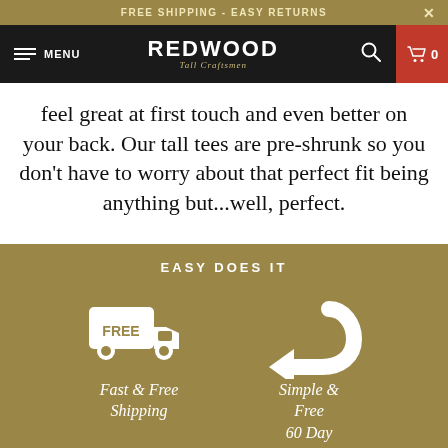FREE SHIPPING - EASY RETURNS
[Figure (screenshot): Redwood Tall Craftsmen logo navigation bar with hamburger menu, MENU text, Redwood brand name, search icon, and red cart icon showing 0 items]
feel great at first touch and even better on your back. Our tall tees are pre-shrunk so you don't have to worry about that perfect fit being anything but...well, perfect.
EASY DOES IT
[Figure (infographic): Two icons: a delivery truck with FREE label representing Fast & Free Shipping, and a return arrow representing Simple & Free 60 Day Returns]
Fast & Free Shipping
Simple & Free 60 Day Returns
What's my size?